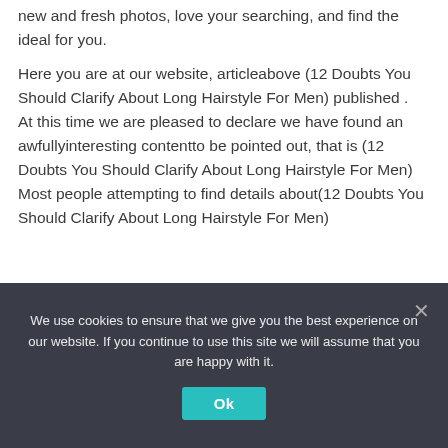new and fresh photos, love your searching, and find the ideal for you.
Here you are at our website, articleabove (12 Doubts You Should Clarify About Long Hairstyle For Men) published .  At this time we are pleased to declare we have found an awfullyinteresting contentto be pointed out, that is (12 Doubts You Should Clarify About Long Hairstyle For Men) Most people attempting to find details about(12 Doubts You Should Clarify About Long Hairstyle For Men)
We use cookies to ensure that we give you the best experience on our website. If you continue to use this site we will assume that you are happy with it.